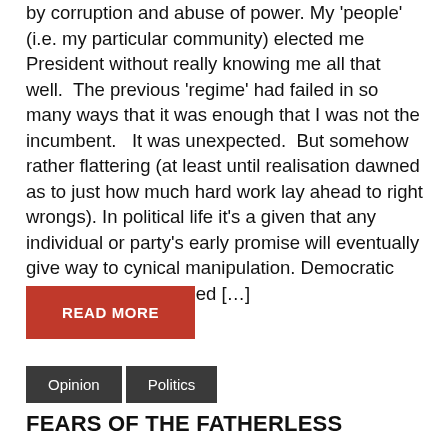by corruption and abuse of power. My 'people'  (i.e. my particular community) elected me President without really knowing me all that well.  The previous 'regime' had failed in so many ways that it was enough that I was not the incumbent.   It was unexpected.  But somehow rather flattering (at least until realisation dawned as to just how much hard work lay ahead to right wrongs). In political life it's a given that any individual or party's early promise will eventually give way to cynical manipulation. Democratic procedures get nudged […]
READ MORE
Opinion
Politics
FEARS OF THE FATHERLESS